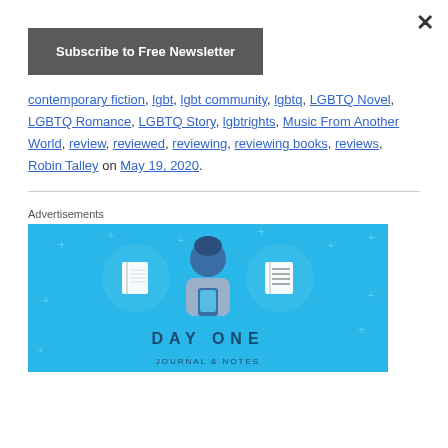×
Subscribe to Free Newsletter
contemporary fiction, lgbt, lgbt community, lgbtq, LGBTQ Novel, LGBTQ Romance, LGBTQ Story, lgbtrights, Music From Another World, review, reviewed, reviewing, reviewing books, reviews, Robin Talley on May 19, 2020.
Advertisements
[Figure (illustration): Day One app advertisement with illustrated person holding a phone, flanked by notebook icons, on a blue background with text DAY ONE]